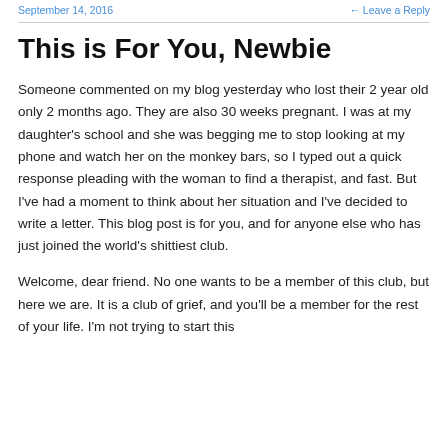September 14, 2016   ← Leave a Reply
This is For You, Newbie
Someone commented on my blog yesterday who lost their 2 year old only 2 months ago. They are also 30 weeks pregnant. I was at my daughter's school and she was begging me to stop looking at my phone and watch her on the monkey bars, so I typed out a quick response pleading with the woman to find a therapist, and fast. But I've had a moment to think about her situation and I've decided to write a letter. This blog post is for you, and for anyone else who has just joined the world's shittiest club.
Welcome, dear friend. No one wants to be a member of this club, but here we are. It is a club of grief, and you'll be a member for the rest of your life. I'm not trying to start this